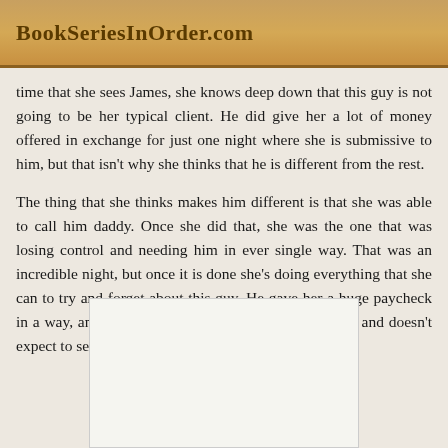BookSeriesInOrder.com
time that she sees James, she knows deep down that this guy is not going to be her typical client. He did give her a lot of money offered in exchange for just one night where she is submissive to him, but that isn't why she thinks that he is different from the rest.
The thing that she thinks makes him different is that she was able to call him daddy. Once she did that, she was the one that was losing control and needing him in ever single way. That was an incredible night, but once it is done she's doing everything that she can to try and forget about this guy. He gave her a huge paycheck in a way, and so she plans to put the cash to good use and doesn't expect to see him again.
[Figure (other): White rectangular book cover image placeholder at bottom of page]